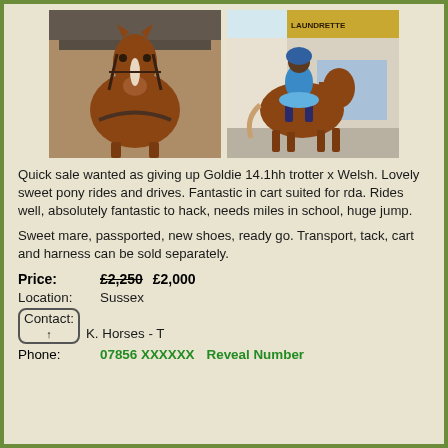[Figure (photo): Two photos of a chestnut pony: left photo shows the pony facing forward in harness/bridle, right photo shows a rider in blue on the pony outside a launderette.]
Quick sale wanted as giving up Goldie 14.1hh trotter x Welsh. Lovely sweet pony rides and drives. Fantastic in cart suited for rda. Rides well, absolutely fantastic to hack, needs miles in school, huge jump.
Sweet mare, passported, new shoes, ready go. Transport, tack, cart and harness can be sold separately.
Price:   £2,250 £2,000
Location:  Sussex
Contact:  K. Horses - T
Phone:  07856 XXXXXX    Reveal Number